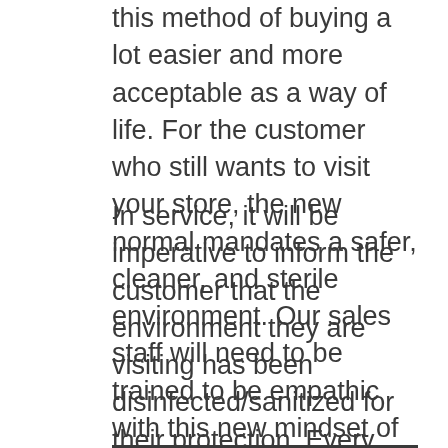this method of buying a lot easier and more acceptable as a way of life. For the customer who still wants to visit your store, the new normal mandates a safer, cleaner, and sterile environment. Our sales staff will need to be trained to be empathic with this new mindset of the customer who chooses to physically visit our stores.
In service, it will be imperative to inform the customer that the environment they are visiting has been disinfected/sanitized for their protection. Every time they bring their car in for service the car should be disinfected/sanitized before we return it to them. We should disinfect/sanitize all customer touch areas such as lounges, demos, and cashier stations. All the service advisors should wear a mask and distance themselves as much as practical. Not only will the customer feel more comfortable, but they will know you are concerned for their safety. The customer will demand this!